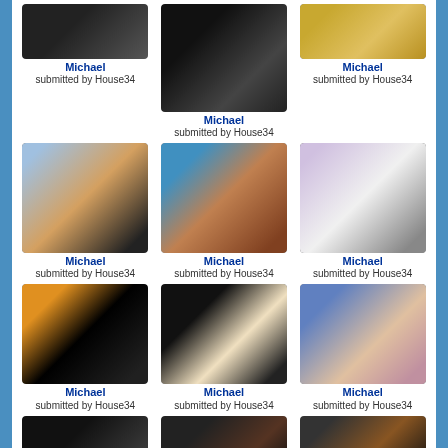[Figure (photo): Photo of Michael Jackson in dark outfit]
Michael
submitted by House34
[Figure (photo): Photo of Michael Jackson in dark suit]
Michael
submitted by House34
[Figure (photo): Photo of Michael Jackson with golden background]
Michael
submitted by House34
[Figure (photo): Photo of Michael Jackson with group in orange jacket]
Michael
submitted by House34
[Figure (photo): Photo of young Michael Jackson with afro]
Michael
submitted by House34
[Figure (photo): Photo of Michael Jackson on stage in white shirt]
Michael
submitted by House34
[Figure (photo): Photo of Michael Jackson with sunglasses and dragon jacket]
Michael
submitted by House34
[Figure (photo): Photo of Michael Jackson on stage with hat]
Michael
submitted by House34
[Figure (photo): Photo of Michael Jackson close up smiling]
Michael
submitted by House34
[Figure (photo): Photo of Michael Jackson in black and white]
[Figure (photo): Photo of Michael Jackson dark portrait]
[Figure (photo): Photo of Michael Jackson with bow tie]